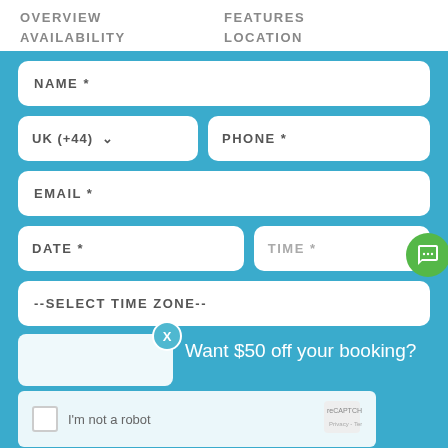OVERVIEW   FEATURES   AVAILABILITY   LOCATION
[Figure (screenshot): Booking form UI with teal background, fields: NAME, UK (+44) country selector, PHONE, EMAIL, DATE, TIME, --SELECT TIME ZONE--, a chat button, an X dismiss bubble, 'Want $50 off your booking?' promotional text, and a CAPTCHA 'I'm not a robot' widget]
$4,574 / NIGHT
$4,574 | TOTAL
BOOK NOW